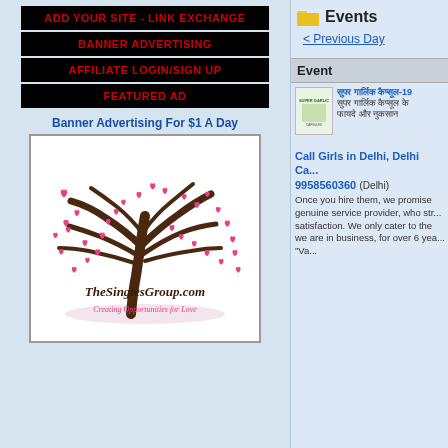ADD YOUR SITE - LINK EXCHANGE
BANNER ADVERTISING
AFFILIATE LOGIN/SIGN UP
FEATURED AD
Banner Advertising For $1 A Day
[Figure (illustration): TheSinglesGroup.com logo — a tree with pink heart-shaped leaves and the text 'TheSinglesGroup.com Creating Opportunities for Love']
Events
< Previous Day
Event
[Figure (photo): Super Garlic product package thumbnail]
सुपर गार्लिक कैप्सूल-19
Call Girls in Delhi, Delhi Ca... 9958560360 (Delhi)
Once you hire them, we promise genuine service provider, who str... satisfaction. We only cater to the we are in business, for over 6 yea... "Va...